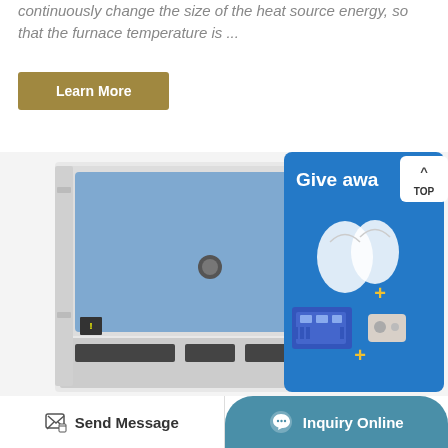continuously change the size of the heat source energy, so that the furnace temperature is ...
[Figure (other): Button labeled 'Learn More' with olive/gold background]
[Figure (photo): Laboratory muffle furnace with blue door, white cabinet body, and control panel at bottom; alongside a blue 'Give away' promotional banner showing oven mitts and electronic components]
Send Message  |  Inquiry Online